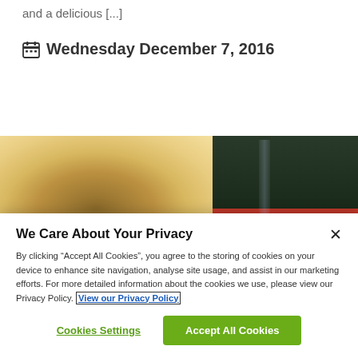and a delicious [...]
Wednesday December 7, 2016
[Figure (photo): Two side-by-side food/event photos: left shows a golden glittery ornament with a blue logo badge, right shows a holiday table setting with wine glasses and red berries/ornaments on a red background.]
We Care About Your Privacy
By clicking “Accept All Cookies”, you agree to the storing of cookies on your device to enhance site navigation, analyse site usage, and assist in our marketing efforts. For more detailed information about the cookies we use, please view our Privacy Policy. View our Privacy Policy
Cookies Settings
Accept All Cookies